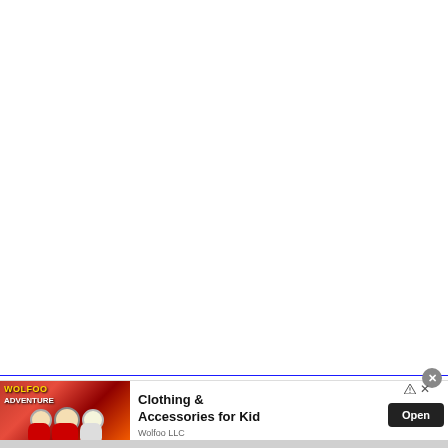[Figure (screenshot): Large white blank content area taking up top portion of the page]
[Figure (illustration): Advertisement banner for Wolfoo LLC showing cartoon wolf characters and text 'Clothing & Accessories for Kid' with an Open button]